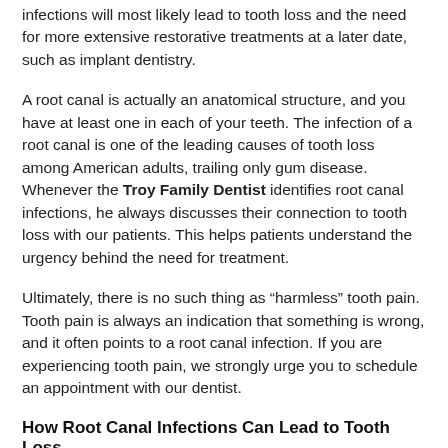infections will most likely lead to tooth loss and the need for more extensive restorative treatments at a later date, such as implant dentistry.
A root canal is actually an anatomical structure, and you have at least one in each of your teeth. The infection of a root canal is one of the leading causes of tooth loss among American adults, trailing only gum disease. Whenever the Troy Family Dentist identifies root canal infections, he always discusses their connection to tooth loss with our patients. This helps patients understand the urgency behind the need for treatment.
Ultimately, there is no such thing as “harmless” tooth pain. Tooth pain is always an indication that something is wrong, and it often points to a root canal infection. If you are experiencing tooth pain, we strongly urge you to schedule an appointment with our dentist.
How Root Canal Infections Can Lead to Tooth Loss
Each of your teeth has at least one and as many as four root